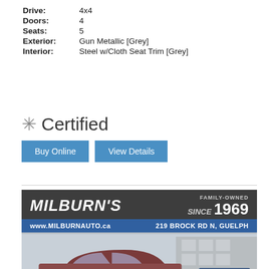Drive: 4x4
Doors: 4
Seats: 5
Exterior: Gun Metallic [Grey]
Interior: Steel w/Cloth Seat Trim [Grey]
✳ Certified
Buy Online   View Details
[Figure (photo): Milburn's auto dealership advertisement banner showing 'MILBURN'S FAMILY-OWNED SINCE 1969', website www.MILBURNAUTO.ca, address 219 BROCK RD N, GUELPH, and a photo of a red/maroon vehicle at the dealership lot with a building visible in the background.]